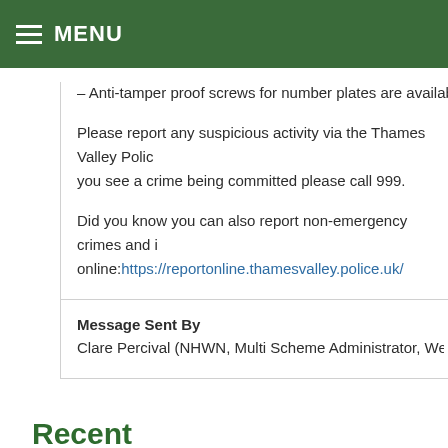MENU
– Anti-tamper proof screws for number plates are available from
Please report any suspicious activity via the Thames Valley Polic you see a crime being committed please call 999.
Did you know you can also report non-emergency crimes and i online: https://reportonline.thamesvalley.police.uk/
Message Sent By
Clare Percival (NHWN, Multi Scheme Administrator, West Oxford
Recent News